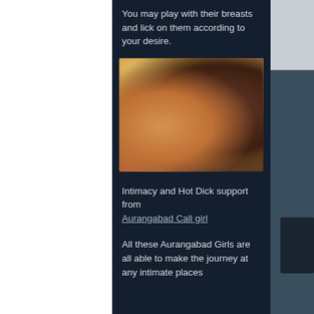You may play with their breasts and lick on them according to your desire.
[Figure (photo): Blurred photo of a person, reddish-brown tones, dimly lit intimate setting]
Intimacy and Hot Dick support from Aurangabad Call girl
All these Aurangabad Girls are all able to make the journey at any intimate places